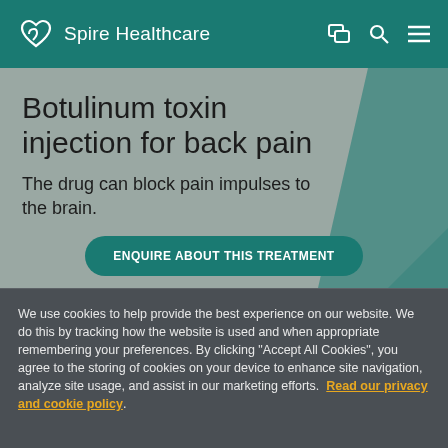Spire Healthcare
Botulinum toxin injection for back pain
The drug can block pain impulses to the brain.
Enquire about this treatment
We use cookies to help provide the best experience on our website. We do this by tracking how the website is used and when appropriate remembering your preferences. By clicking "Accept All Cookies", you agree to the storing of cookies on your device to enhance site navigation, analyze site usage, and assist in our marketing efforts.  Read our privacy and cookie policy